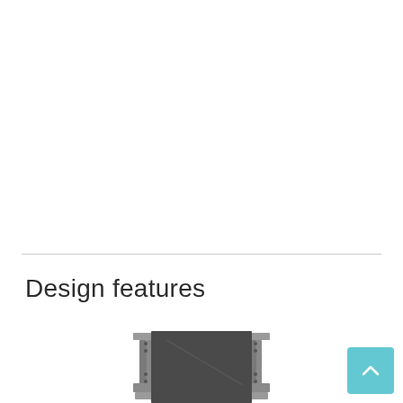Design features
[Figure (photo): Photograph of a wheelchair backrest/seat panel assembly with metal bracket hardware on both sides, viewed from the rear. The panel is dark gray/black and appears to be partially cropped at the bottom of the page.]